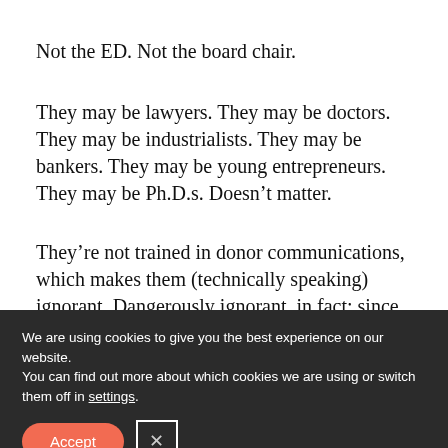Not the ED. Not the board chair.
They may be lawyers. They may be doctors. They may be industrialists. They may be bankers. They may be young entrepreneurs. They may be Ph.D.s. Doesn’t matter.
They’re not trained in donor communications, which makes them (technically speaking) ignorant. Dangerously ignorant, in fact; since the “bright”
We are using cookies to give you the best experience on our website.
You can find out more about which cookies we are using or switch them off in settings.